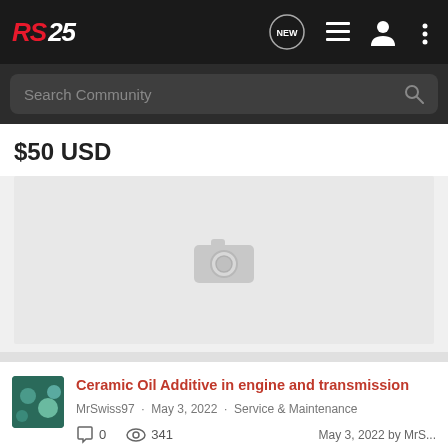RS25 navigation bar with logo, NEW posts icon, list icon, profile icon, more options icon
Search Community
$50 USD
[Figure (photo): Image placeholder with camera icon on light grey background]
Ceramic Oil Additive in engine and transmission
MrSwiss97 · May 3, 2022 · Service & Maintenance
0 comments · 341 views · May 3, 2022 by MrS...